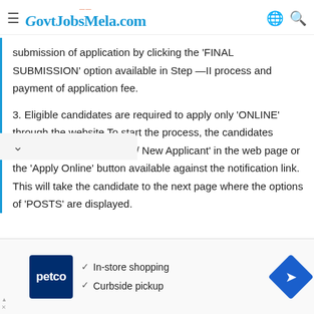GovtJobsMela.com
submission of application by clicking the 'FINAL SUBMISSION' option available in Step —II process and payment of application fee.
3. Eligible candidates are required to apply only 'ONLINE' through the website To start the process, the candidates should click the link 'Step-I/ New Applicant' in the web page or the 'Apply Online' button available against the notification link. This will take the candidate to the next page where the options of 'POSTS' are displayed.
[Figure (infographic): Advertisement for Petco featuring In-store shopping and Curbside pickup with blue arrow logo]